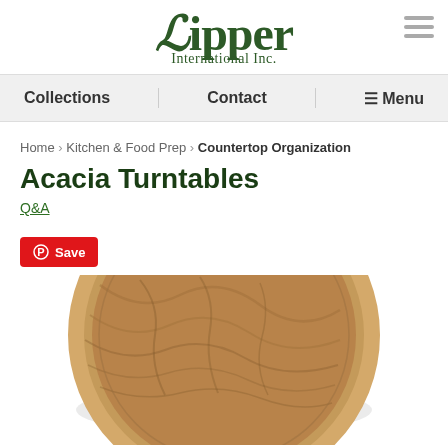Lipper International Inc.
Collections | Contact | Menu
Home › Kitchen & Food Prep › Countertop Organization
Acacia Turntables
Q&A
Save
[Figure (photo): Acacia wood turntable/lazy susan, round wooden product shot on white background, top portion visible showing wood grain texture and circular rim.]